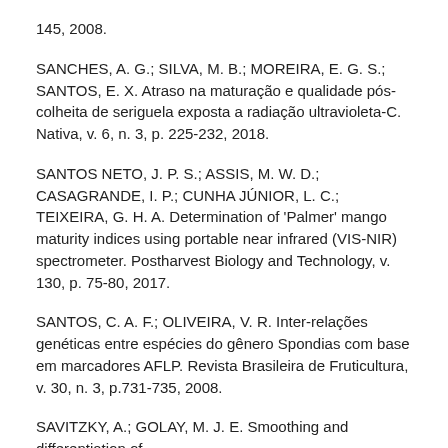145, 2008.
SANCHES, A. G.; SILVA, M. B.; MOREIRA, E. G. S.; SANTOS, E. X. Atraso na maturação e qualidade pós-colheita de seriguela exposta a radiação ultravioleta-C. Nativa, v. 6, n. 3, p. 225-232, 2018.
SANTOS NETO, J. P. S.; ASSIS, M. W. D.; CASAGRANDE, I. P.; CUNHA JÚNIOR, L. C.; TEIXEIRA, G. H. A. Determination of 'Palmer' mango maturity indices using portable near infrared (VIS-NIR) spectrometer. Postharvest Biology and Technology, v. 130, p. 75-80, 2017.
SANTOS, C. A. F.; OLIVEIRA, V. R. Inter-relações genéticas entre espécies do gênero Spondias com base em marcadores AFLP. Revista Brasileira de Fruticultura, v. 30, n. 3, p.731-735, 2008.
SAVITZKY, A.; GOLAY, M. J. E. Smoothing and differentiation of